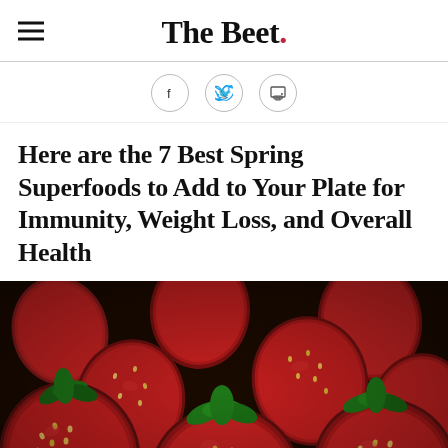The Beet.
[Figure (other): Social sharing icons: Facebook, Twitter, Print]
Here are the 7 Best Spring Superfoods to Add to Your Plate for Immunity, Weight Loss, and Overall Health
[Figure (photo): Close-up photograph of a large pile of fresh red strawberries with green leaves/stems, filling the entire frame]